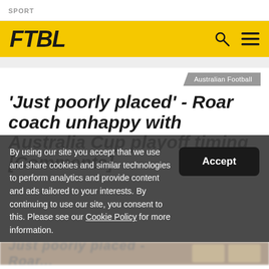SPORT
FTBL
Australian Football
'Just poorly placed' - Roar coach unhappy with Australia Cup playoff timing [Comments]
By using our site you accept that we use and share cookies and similar technologies to perform analytics and provide content and ads tailored to your interests. By continuing to use our site, you consent to this. Please see our Cookie Policy for more information.